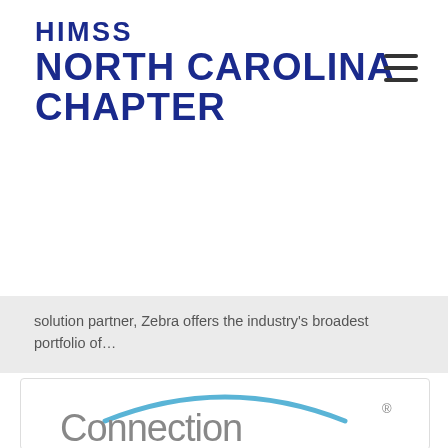HIMSS NORTH CAROLINA CHAPTER
solution partner, Zebra offers the industry's broadest portfolio of…
[Figure (logo): Connection logo with blue arc above the word 'Connection' in grey text with registered trademark symbol]